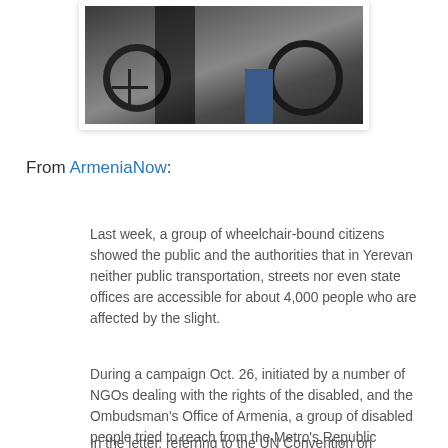[Figure (photo): Photograph of wheelchair users outdoors on pavement, with people in the background]
From ArmeniaNow:
Last week, a group of wheelchair-bound citizens showed the public and the authorities that in Yerevan neither public transportation, streets nor even state offices are accessible for about 4,000 people who are affected by the slight.
During a campaign Oct. 26, initiated by a number of NGOs dealing with the rights of the disabled, and the Ombudsman's Office of Armenia, a group of disabled people tried to reach from the Metro's Republic Square station to the Yerevan Municipality building, in order to pass their letter to Mayor Karen Karapetyan.
In the letter, referring to the UN Convention on